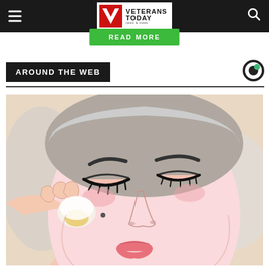Veterans Today — navigation header with hamburger menu and search icon
AROUND THE WEB
[Figure (illustration): Illustration of a woman lying down with eyes closed, having a cotton pad or egg pressed against her cheek near a mole. Drawn in comic/anime style with pink skin tones, dark hair tied back, and pink lips.]